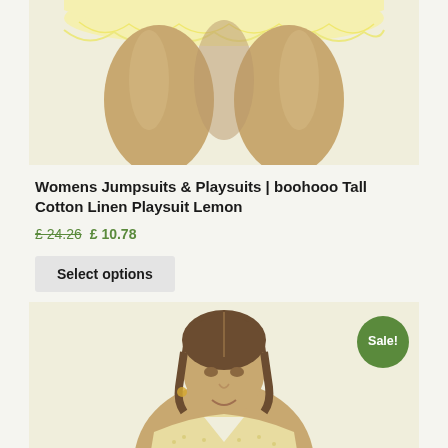[Figure (photo): Close-up of yellow ruffled cotton linen playsuit bottom half on a model, showing legs]
Womens Jumpsuits & Playsuits | boohooo Tall Cotton Linen Playsuit Lemon
£ 24.26 £ 10.78
Select options
[Figure (photo): Model wearing a light yellow crochet/textured playsuit, upper body shown, with Sale! badge]